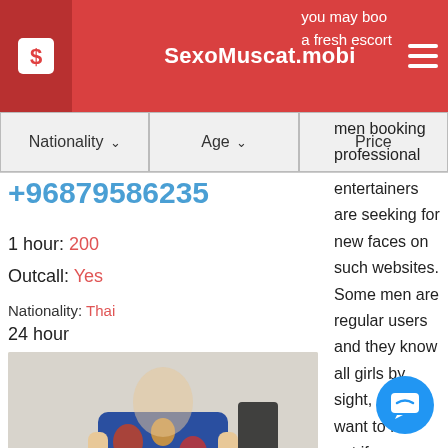SexoMuscat.mobi
+96879586235
1 hour: 200
Outcall: Yes
Nationality: Thai
24 hour
[Figure (photo): Woman in floral dress posing]
men booking professional entertainers are seeking for new faces on such websites. Some men are regular users and they know all girls by sight, so they want to find out if new p... hotties have